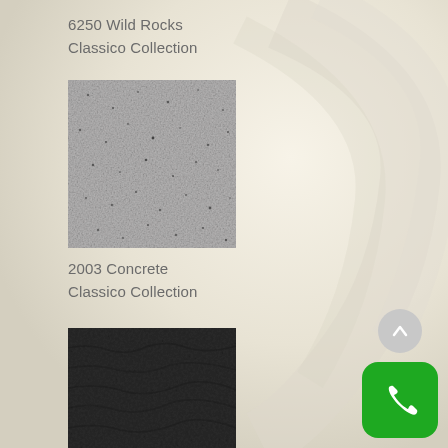6250 Wild Rocks
Classico Collection
[Figure (photo): Texture swatch for 6250 Wild Rocks - medium grey speckled stone/granite-look surface]
2003 Concrete
Classico Collection
[Figure (photo): Texture swatch for 2003 Concrete - dark charcoal textured surface with subtle pattern, partially visible]